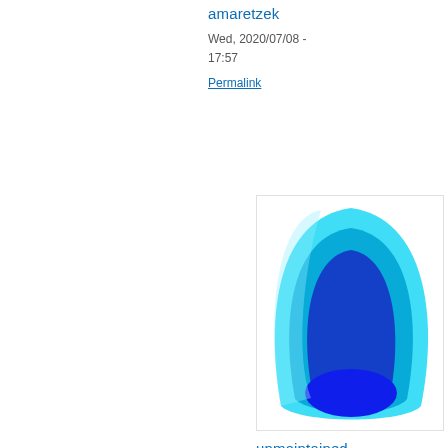amaretzek
Wed, 2020/07/08 - 17:57
Permalink
[Figure (illustration): Blue leaf/droplet shaped logo with cyan and blue gradient colors on white background]
unmaintained
Wed, 2020/07/08 - 18:15
Permalink
[Figure (illustration): Generic user avatar: person silhouette with brown hair, blue shirt, on white background]
amaretzek
Wed, 2020/07/08 -